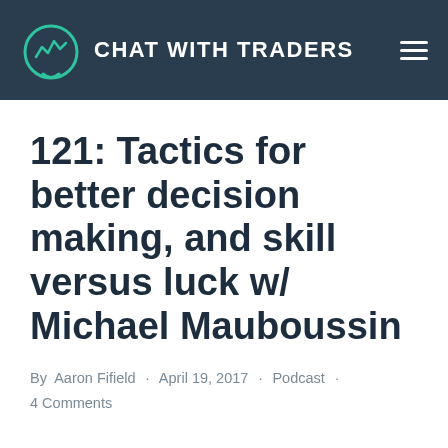CHAT WITH TRADERS
121: Tactics for better decision making, and skill versus luck w/ Michael Mauboussin
By Aaron Fifield · April 19, 2017 · Podcast · 4 Comments